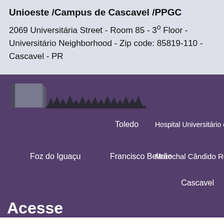Unioeste /Campus de Cascavel /PPGC
2069 Universitária Street - Room 85 - 3º Floor - Universitário Neighborhood - Zip code: 85819-110 - Cascavel - PR
[Figure (logo): Unioeste logo with stylized tree/building silhouette in dark gray on purple background]
Toledo
Hospital Universitário do Oeste do Paraná
Foz do Iguaçu
Francisco Beltrão
Marechal Cândido Rondon
Cascavel
Acesse